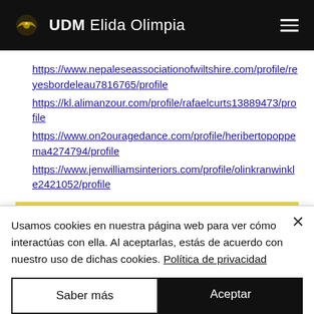UDM Elida Olimpia
https://www.nepaleseassociationofwiltshire.com/profile/reyesbordeleau7816765/profile
https://kl.alimanzour.com/profile/rafaelcurts13889473/profile
https://www.on2ouragedance.com/profile/heribertopoppema4274794/profile
https://www.jenwilliamsinteriors.com/profile/olinkranwinkle2421052/profile
INICIO
UnionTV
Usamos cookies en nuestra página web para ver cómo interactúas con ella. Al aceptarlas, estás de acuerdo con nuestro uso de dichas cookies. Política de privacidad
Saber más
Aceptar